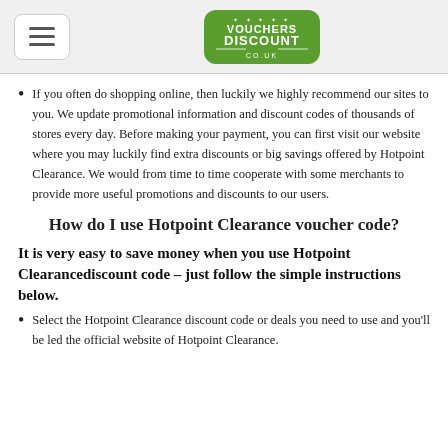Vouchers Discount Co.uk [logo] [hamburger menu]
If you often do shopping online, then luckily we highly recommend our sites to you. We update promotional information and discount codes of thousands of stores every day. Before making your payment, you can first visit our website where you may luckily find extra discounts or big savings offered by Hotpoint Clearance. We would from time to time cooperate with some merchants to provide more useful promotions and discounts to our users.
How do I use Hotpoint Clearance voucher code?
It is very easy to save money when you use Hotpoint Clearancediscount code – just follow the simple instructions below.
Select the Hotpoint Clearance discount code or deals you need to use and you'll be led the official website of Hotpoint Clearance.